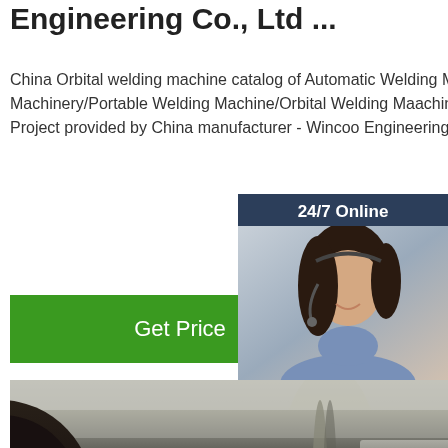Engineering Co., Ltd ...
China Orbital welding machine catalog of Automatic Welding Machine for Pipeline Construction Machinery/Portable Welding Machine/Orbital Welding Maachine, Orbital Welding Machine for Pipeline Project provided by China manufacturer - Wincoo Engineering Co., Ltd., page1.
Get Price
[Figure (photo): Chat widget with '24/7 Online' label, a woman wearing a headset smiling, text 'Click here for free chat!' and an orange 'QUOTATION' button, on a dark blue background.]
[Figure (photo): Close-up photo of large steel pipeline tubes in an industrial setting with a worker partially visible in the background.]